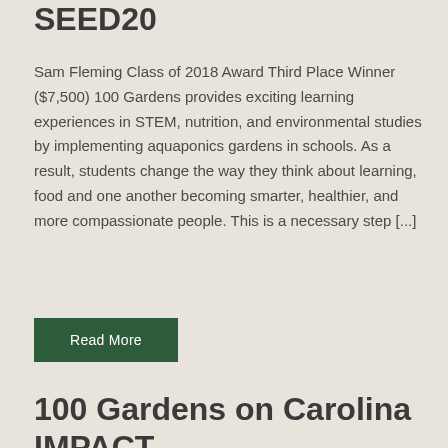SEED20
Sam Fleming Class of 2018 Award Third Place Winner ($7,500) 100 Gardens provides exciting learning experiences in STEM, nutrition, and environmental studies by implementing aquaponics gardens in schools. As a result, students change the way they think about learning, food and one another becoming smarter, healthier, and more compassionate people. This is a necessary step [...]
Read More
100 Gardens on Carolina IMPACT